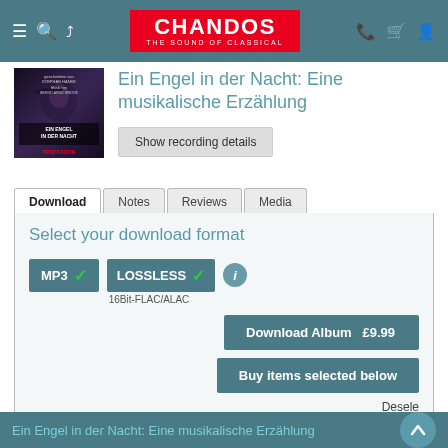CHANDOS – THE SOUND OF CLASSICAL
[Figure (photo): Album cover for 'Ein Engel in der Nacht: Eine musikalische Erzählung' showing a dark-themed illustration with a woman and bird]
Ein Engel in der Nacht: Eine musikalische Erzählung
Show recording details
Download | Notes | Reviews | Media
Select your download format
MP3  ✓  LOSSLESS  ✓  ℹ
16Bit-FLAC/ALAC
Download Album  £9.99
Buy items selected below
Desele
Ein Engel in der Nacht: Eine musikalische Erzählung